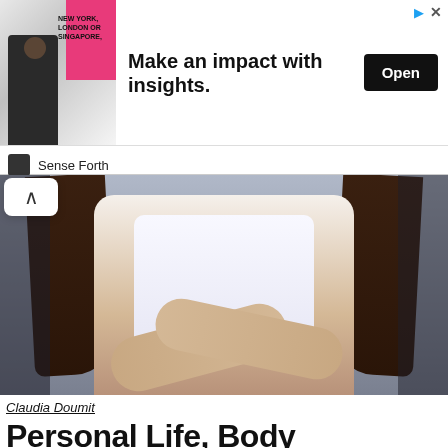[Figure (infographic): Advertisement banner: image of man in suit standing next to pink graphic element with text 'NEW YORK, LONDON OR SINGAPORE', headline 'Make an impact with insights.' and Open button. Brand: Sense Forth.]
[Figure (photo): Photo of a young woman with long brown wavy hair wearing a white t-shirt, arms crossed, sitting. Photo is cropped to show torso and arms only.]
Claudia Doumit
Personal Life, Body